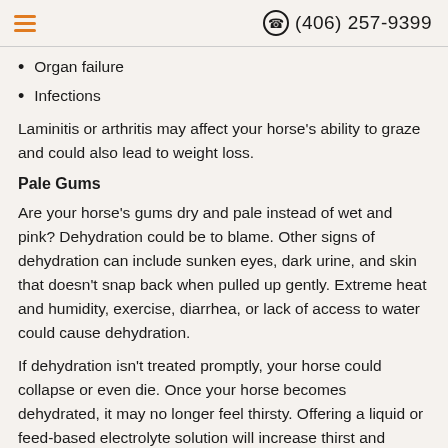(406) 257-9399
Organ failure
Infections
Laminitis or arthritis may affect your horse's ability to graze and could also lead to weight loss.
Pale Gums
Are your horse's gums dry and pale instead of wet and pink? Dehydration could be to blame. Other signs of dehydration can include sunken eyes, dark urine, and skin that doesn't snap back when pulled up gently. Extreme heat and humidity, exercise, diarrhea, or lack of access to water could cause dehydration.
If dehydration isn't treated promptly, your horse could collapse or even die. Once your horse becomes dehydrated, it may no longer feel thirsty. Offering a liquid or feed-based electrolyte solution will increase thirst and encourage your horse to drink. Your veterinarian may use a tube to deposit the solution directly into your horse's stomach.